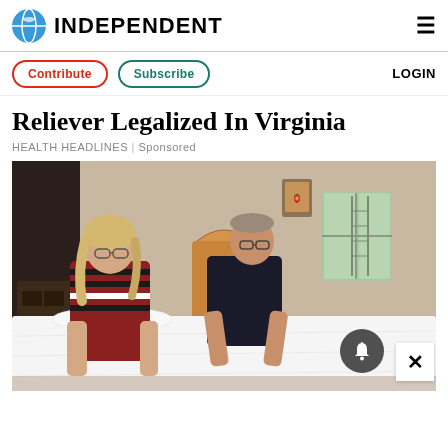INDEPENDENT
Contribute | Subscribe | LOGIN
Reliever Legalized In Virginia
HEALTH HEADLINES | Sponsored
[Figure (photo): An older couple standing next to a bed with a white mattress in a bedroom. The woman on the left has blonde hair and glasses and wears a striped red and black sweater. The man on the right wears glasses and a dark polo shirt. There is a wooden headboard, a window, and a small framed picture on the wall in the background.]